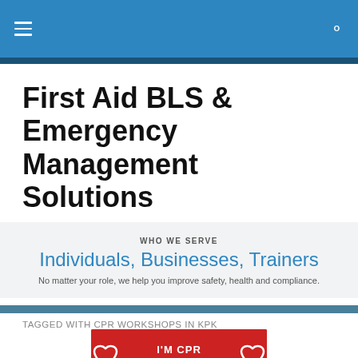First Aid BLS & Emergency Management Solutions — navigation bar
First Aid BLS & Emergency Management Solutions
Making first aid a part of everybody's life.
WHO WE SERVE
Individuals, Businesses, Trainers
No matter your role, we help you improve safety, health and compliance.
TAGGED WITH CPR WORKSHOPS IN KPK
[Figure (illustration): Red badge with text I'M CPR TRAINED and CPR hands/heart icons on either side]